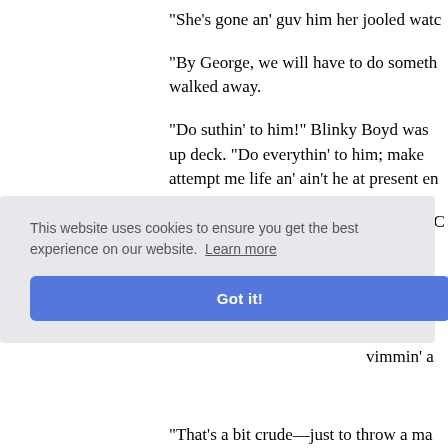"She's gone an' guv him her jooled watc
"By George, we will have to do someth... walked away.
"Do suthin' to him!" Blinky Boyd was ... up deck. "Do everythin' to him; make ... attempt me life an' ain't he at present en...
"Well, have you got any ideas?" asked C
"The first thing," whispered Blinky, "is ... was no cook could stand up agin' the d..."
o' good b... vimmin' a
[Figure (other): Cookie consent banner with text 'This website uses cookies to ensure you get the best experience on our website. Learn more' and a 'Got it!' button]
"That's a bit crude—just to throw a ma